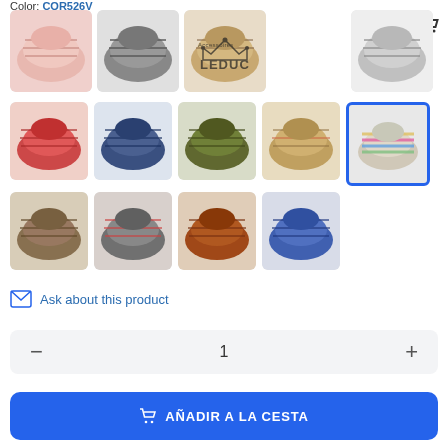Color: COR526V
[Figure (photo): Grid of decorative woven ribbon/tape product thumbnails in various colors including pink, gray, tan, light gray, red, dark blue, olive, multicolor, rainbow, brown, gray-pink, rust, and blue]
Ask about this product
1
AÑADIR A LA CESTA